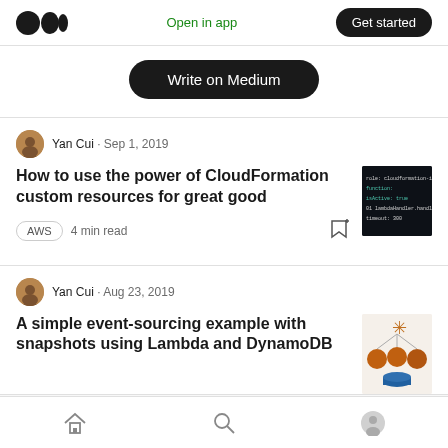Medium logo | Open in app | Get started
Write on Medium
Yan Cui · Sep 1, 2019
How to use the power of CloudFormation custom resources for great good
AWS   4 min read
[Figure (screenshot): Dark code screenshot thumbnail]
Yan Cui · Aug 23, 2019
A simple event-sourcing example with snapshots using Lambda and DynamoDB
[Figure (illustration): Architecture diagram thumbnail with orange icons]
Home | Search | Profile navigation icons